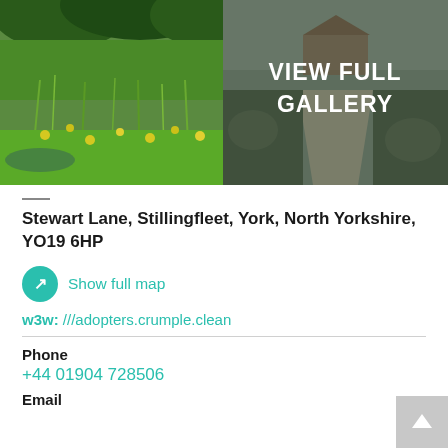[Figure (photo): Left photo: lush green garden with wildflowers and tall grasses]
[Figure (photo): Right photo: garden path with gazebo in background, overlaid with 'VIEW FULL GALLERY' text]
Stewart Lane, Stillingfleet, York, North Yorkshire, YO19 6HP
Show full map
w3w: ///adopters.crumple.clean
Phone
+44 01904 728506
Email